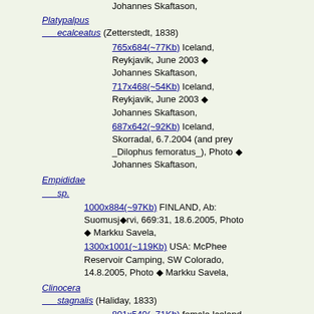Lyndauik, July 2001, Photo Johannes Skaftason,
Platypalpus ecalceatus (Zetterstedt, 1838)
765x684(~77Kb) Iceland, Reykjavik, June 2003 ◆ Johannes Skaftason,
717x468(~54Kb) Iceland, Reykjavik, June 2003 ◆ Johannes Skaftason,
687x642(~92Kb) Iceland, Skorradal, 6.7.2004 (and prey _Dilophus femoratus_), Photo ◆ Johannes Skaftason,
Empididae sp.
1000x884(~97Kb) FINLAND, Ab: Suomusjärvi, 669:31, 18.6.2005, Photo ◆ Markku Savela,
1300x1001(~119Kb) USA: McPhee Reservoir Camping, SW Colorado, 14.8.2005, Photo ◆ Markku Savela,
Clinocera stagnalis (Haliday, 1833)
801x540(~71Kb) female Iceland, Selfoss, 2.6.2004, Photo ◆ Johannes Skaftason,
498x357(~51Kb) Iceland,